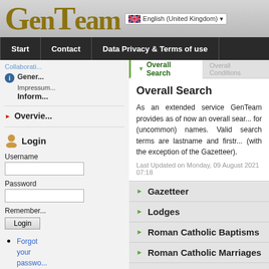[Figure (screenshot): GenTeam website header with logo and language selector showing English (United Kingdom)]
GenTeam | English (United Kingdom)
Start | Contact | Data Privacy & Terms of use
Collaborati... | General Information | Impressum | Inform
Overview
Login
Username
Password
Remember
Forgot your password
Forgot
Overall Search
Overall Search
As an extended service GenTeam provides as of now an overall search for (uncommon) names. Valid search terms are lastname and firstname (with the exception of the Gazetteer).
Last Updated on Monday, 09 August 2021 07:18
Gazetteer
Lodges
Roman Catholic Baptisms
Roman Catholic Marriages
Jewish Community